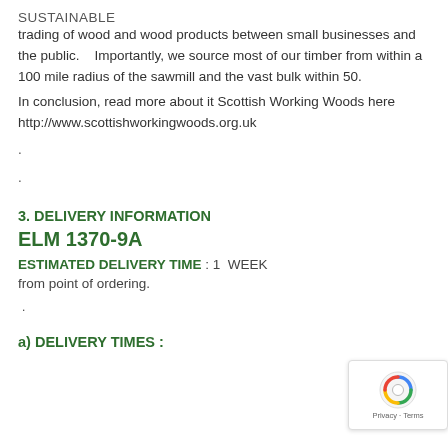SUSTAINABLE
trading of wood and wood products between small businesses and the public.    Importantly, we source most of our timber from within a 100 mile radius of the sawmill and the vast bulk within 50.
In conclusion, read more about it Scottish Working Woods here http://www.scottishworkingwoods.org.uk
.
.
3. DELIVERY INFORMATION
ELM 1370-9A
ESTIMATED DELIVERY TIME : 1  WEEK
from point of ordering.
.
a) DELIVERY TIMES :